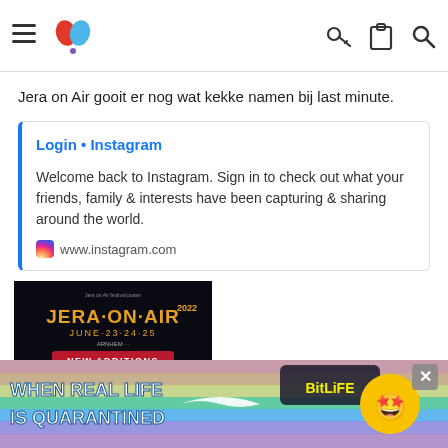Navigation bar with hamburger menu, logo, key icon, clipboard icon, search icon
Jera on Air gooit er nog wat kekke namen bij last minute.
[Figure (screenshot): Instagram embed card showing Login • Instagram link with description: Welcome back to Instagram. Sign in to check out what your friends, family & interests have been capturing & sharing around the world. www.instagram.com]
[Figure (photo): Jera on Air 2022 festival poster showing New Additions: Frank Carter & The Rattlesnakes, Tusky - Imminence - Our Hollow Our Home, For I Am King - Blood Youth, Year of the Knife, One Step Closer. June 23-24-25. JERAONAIR.XL]
@Marc, Joslittel, wenteldave en nog 1 andere persoon
[Figure (photo): Ad banner: WHEN REAL LIFE IS QUARANTINED - BitLife game advertisement with colorful rainbow background and emoji character]